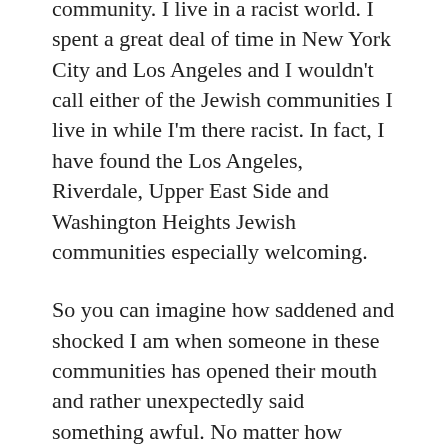community. I live in a racist world. I spent a great deal of time in New York City and Los Angeles and I wouldn't call either of the Jewish communities I live in while I'm there racist. In fact, I have found the Los Angeles, Riverdale, Upper East Side and Washington Heights Jewish communities especially welcoming.
So you can imagine how saddened and shocked I am when someone in these communities has opened their mouth and rather unexpectedly said something awful. No matter how many times I hear something awful being said, it doesn't become any less shocking. Every time it makes me want to curl up as I die a slow painful death.
No, I wouldn't call the Jewish community anymore racist than the Dominican community I grew up in. I would never call an entire community 100% racist because that would be generalizing. How could I be Jewish if I believed